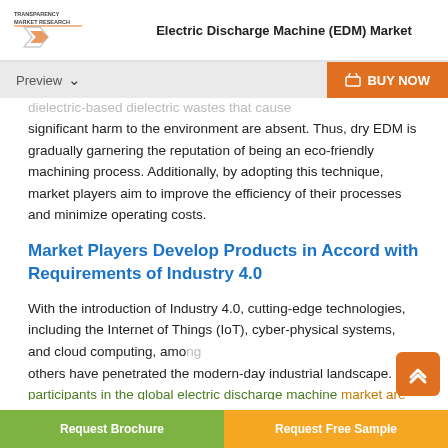Electric Discharge Machine (EDM) Market
dielectronics-based dielectric wastes that cause significant harm to the environment are absent. Thus, dry EDM is gradually garnering the reputation of being an eco-friendly machining process. Additionally, by adopting this technique, market players aim to improve the efficiency of their processes and minimize operating costs.
Market Players Develop Products in Accord with Requirements of Industry 4.0
With the introduction of Industry 4.0, cutting-edge technologies, including the Internet of Things (IoT), cyber-physical systems, and cloud computing, among others have penetrated the modern-day industrial landscape. Key participants in the global electric discharge machine market are currently building